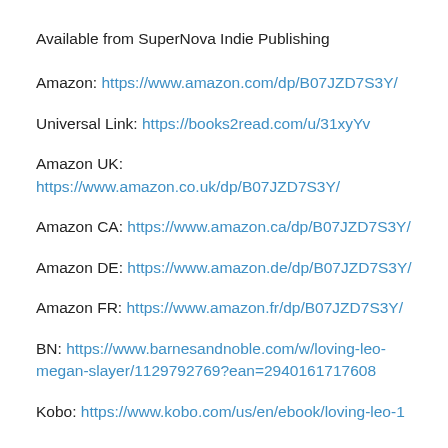Available from SuperNova Indie Publishing
Amazon: https://www.amazon.com/dp/B07JZD7S3Y/
Universal Link: https://books2read.com/u/31xyYv
Amazon UK: https://www.amazon.co.uk/dp/B07JZD7S3Y/
Amazon CA: https://www.amazon.ca/dp/B07JZD7S3Y/
Amazon DE: https://www.amazon.de/dp/B07JZD7S3Y/
Amazon FR: https://www.amazon.fr/dp/B07JZD7S3Y/
BN: https://www.barnesandnoble.com/w/loving-leo-megan-slayer/1129792769?ean=2940161717608
Kobo: https://www.kobo.com/us/en/ebook/loving-leo-1